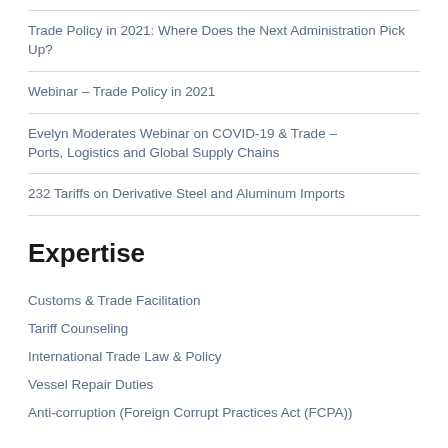Trade Policy in 2021: Where Does the Next Administration Pick Up?
Webinar – Trade Policy in 2021
Evelyn Moderates Webinar on COVID-19 & Trade – Ports, Logistics and Global Supply Chains
232 Tariffs on Derivative Steel and Aluminum Imports
Expertise
Customs & Trade Facilitation
Tariff Counseling
International Trade Law & Policy
Vessel Repair Duties
Anti-corruption (Foreign Corrupt Practices Act (FCPA))